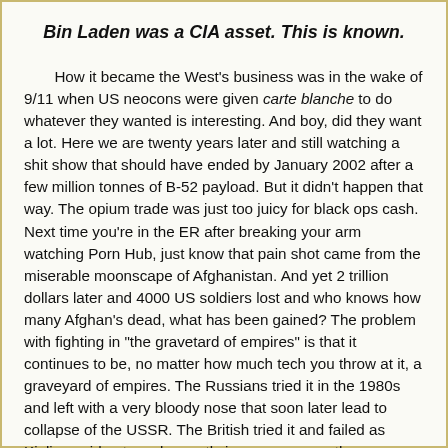Bin Laden was a CIA asset. This is known.
How it became the West's business was in the wake of 9/11 when US neocons were given carte blanche to do whatever they wanted is interesting. And boy, did they want a lot. Here we are twenty years later and still watching a shit show that should have ended by January 2002 after a few million tonnes of B-52 payload. But it didn't happen that way. The opium trade was just too juicy for black ops cash. Next time you're in the ER after breaking your arm watching Porn Hub, just know that pain shot came from the miserable moonscape of Afghanistan. And yet 2 trillion dollars later and 4000 US soldiers lost and who knows how many Afghan's dead, what has been gained? The problem with fighting in "the gravetard of empires" is that it continues to be, no matter how much tech you throw at it, a graveyard of empires. The Russians tried it in the 1980s and left with a very bloody nose that soon later lead to collapse of the USSR. The British tried it and failed as Kipling said not so eloquently in a poem more than one hundred years ago